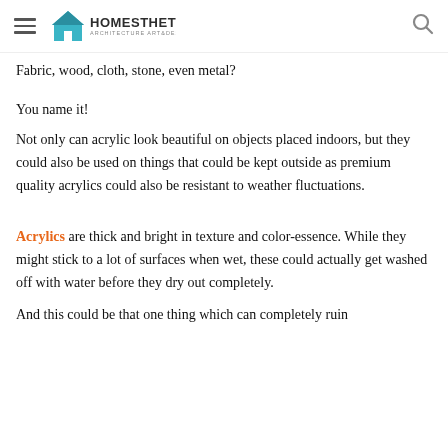Homesthetics – Architecture Art & Design
Fabric, wood, cloth, stone, even metal?
You name it!
Not only can acrylic look beautiful on objects placed indoors, but they could also be used on things that could be kept outside as premium quality acrylics could also be resistant to weather fluctuations.
Acrylics are thick and bright in texture and color-essence. While they might stick to a lot of surfaces when wet, these could actually get washed off with water before they dry out completely.
And this could be that one thing which can completely ruin